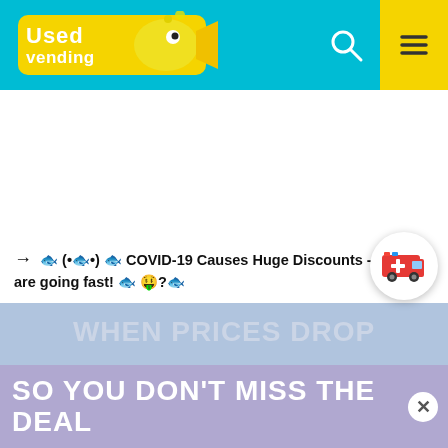[Figure (logo): UsedVending logo - yellow cartoon fish with 'Used Vending' text on cyan/teal header bar]
UsedVending.com header with search icon and hamburger menu on yellow background
[Figure (infographic): White content area placeholder]
[Figure (illustration): Red and white ambulance/medical delivery icon in white circle button]
→ 🐟 (•🐟•) 🐟 COVID-19 Causes Huge Discounts - These are going fast! 🐟 🤑?🐟
SO YOU DON'T MISS THE DEAL